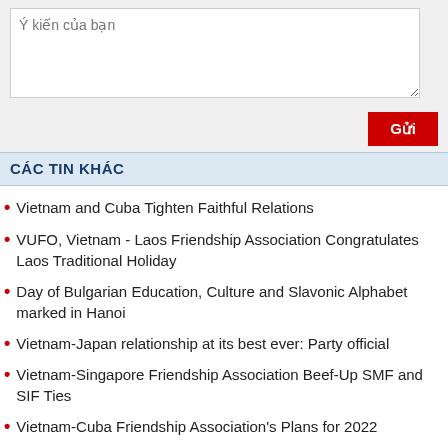Ý kiến của bạn
CÁC TIN KHÁC
Vietnam and Cuba Tighten Faithful Relations
VUFO, Vietnam - Laos Friendship Association Congratulates Laos Traditional Holiday
Day of Bulgarian Education, Culture and Slavonic Alphabet marked in Hanoi
Vietnam-Japan relationship at its best ever: Party official
Vietnam-Singapore Friendship Association Beef-Up SMF and SIF Ties
Vietnam-Cuba Friendship Association's Plans for 2022
Vietnam - Ukraine Celebrate 30th Anniversary of Diplomatic Relations